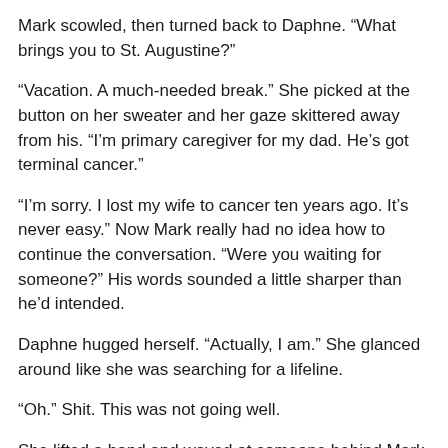Mark scowled, then turned back to Daphne. “What brings you to St. Augustine?”
“Vacation. A much-needed break.” She picked at the button on her sweater and her gaze skittered away from his. “I’m primary caregiver for my dad. He’s got terminal cancer.”
“I’m sorry. I lost my wife to cancer ten years ago. It’s never easy.” Now Mark really had no idea how to continue the conversation. “Were you waiting for someone?” His words sounded a little sharper than he’d intended.
Daphne hugged herself. “Actually, I am.” She glanced around like she was searching for a lifeline.
“Oh.” Shit. This was not going well.
She lifted a hand and waved at someone behind Mark. Her face split into a sunny smile and her shoulders sagged in relief. “Hello. Over here.”
“There you are.” The voice of the newcomer at the door, the…